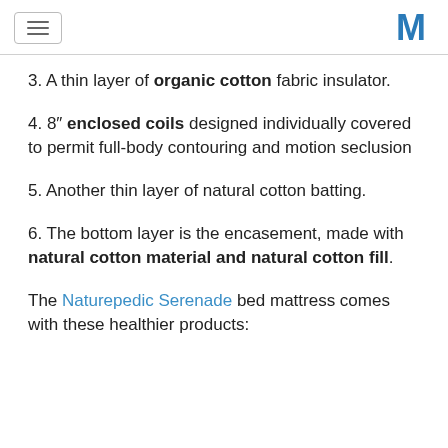[hamburger menu icon] [M logo]
3. A thin layer of organic cotton fabric insulator.
4. 8" enclosed coils designed individually covered to permit full-body contouring and motion seclusion
5. Another thin layer of natural cotton batting.
6. The bottom layer is the encasement, made with natural cotton material and natural cotton fill.
The Naturepedic Serenade bed mattress comes with these healthier products: